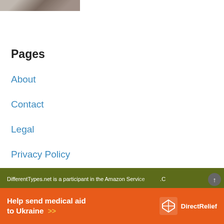[Figure (photo): Partial image of feet/shoes at the top of the page]
Pages
About
Contact
Legal
Privacy Policy
Sitemap
DifferentTypes.net is a participant in the Amazon Servi... .C
[Figure (other): Orange advertisement banner: Help send medical aid to Ukraine >> with Direct Relief logo]